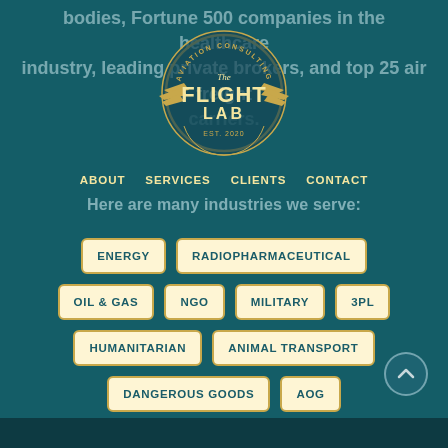bodies, Fortune 500 companies in the healthcare industry, leading private brokers, and top 25 air freight carriers.
[Figure (logo): The Flight Lab Aviation Consulting logo — circular badge with wings, EST. 2020]
ABOUT   SERVICES   CLIENTS   CONTACT
Here are many industries we serve:
ENERGY
RADIOPHARMACEUTICAL
OIL & GAS
NGO
MILITARY
3PL
HUMANITARIAN
ANIMAL TRANSPORT
DANGEROUS GOODS
AOG